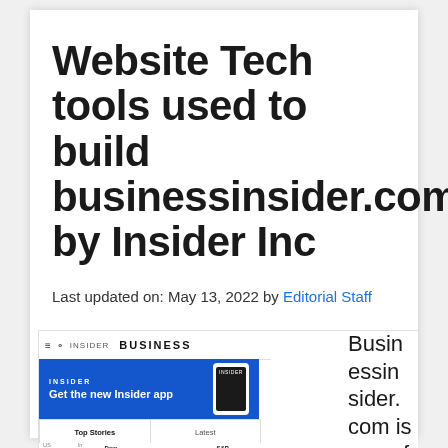Website Tech tools used to build businessinsider.com by Insider Inc
Last updated on: May 13, 2022 by Editorial Staff
[Figure (screenshot): Screenshot of businessinsider.com homepage showing the Business Insider navbar, a blue 'Get the new Insider app' banner, Top Stories/Latest tab bar, and a market ticker with Dow Jones +1.05%, Nasdaq +0.31%, S&P 500 +0.75%, TSLA -0.83%]
Businessinsider.com is one of the